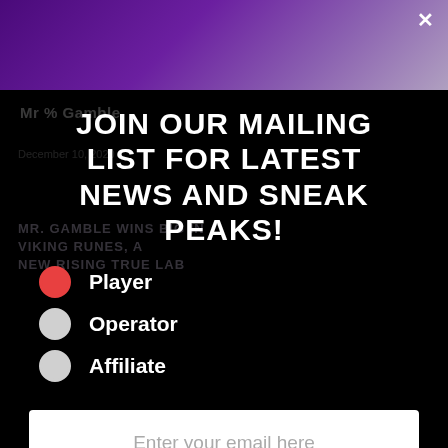[Figure (screenshot): Purple/violet banner image with a person visible on the right side and a close (×) button in the top right corner.]
JOIN OUR MAILING LIST FOR LATEST NEWS AND SNEAK PEAKS!
Player (selected radio button)
Operator
Affiliate
Enter your email here
I agree to be added to the mailing list